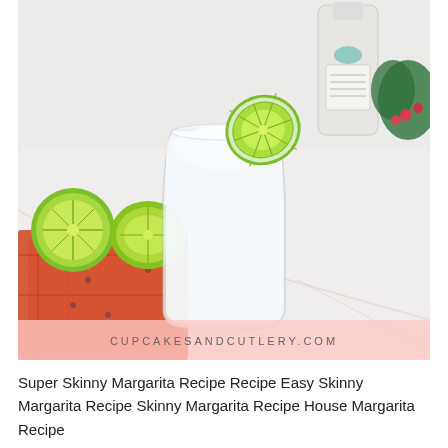[Figure (photo): A frosted glass tumbler filled with a pale white skinny margarita cocktail, garnished with a lime wheel on the rim. Two halved limes sit on a red patterned cloth napkin to the left. A bottle of tequila is partially visible in the upper right background, along with green leaves and small red flowers. The surface is white marble. A pink watermark bar at the bottom reads CUPCAKESANDCUTLERY.COM]
Super Skinny Margarita Recipe Recipe Easy Skinny Margarita Recipe Skinny Margarita Recipe House Margarita Recipe